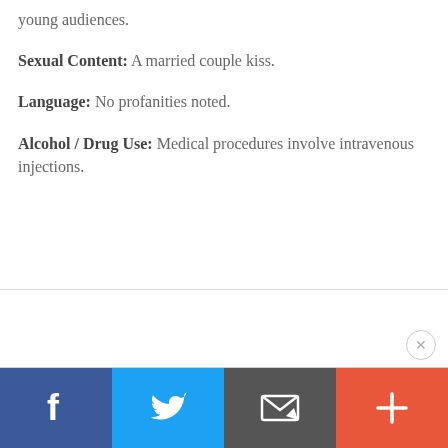young audiences.
Sexual Content: A married couple kiss.
Language: No profanities noted.
Alcohol / Drug Use: Medical procedures involve intravenous injections.
[Figure (infographic): Social share bar with Facebook, Twitter, Email, and More (+) buttons at the bottom of the page. A close (X) button appears above the bar on the right side.]